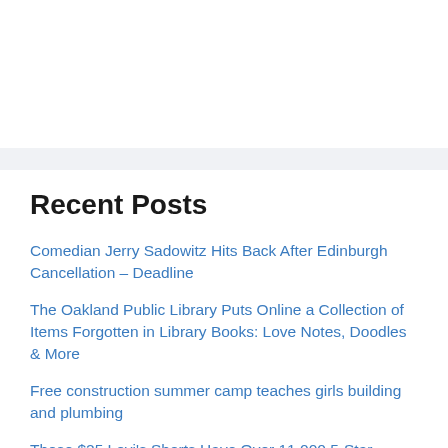Recent Posts
Comedian Jerry Sadowitz Hits Back After Edinburgh Cancellation – Deadline
The Oakland Public Library Puts Online a Collection of Items Forgotten in Library Books: Love Notes, Doodles & More
Free construction summer camp teaches girls building and plumbing
These $25 Levi's Shorts Have Over 11,000 5-Star Amazon Reviews
Sophie Jamieson Announces Debut Album